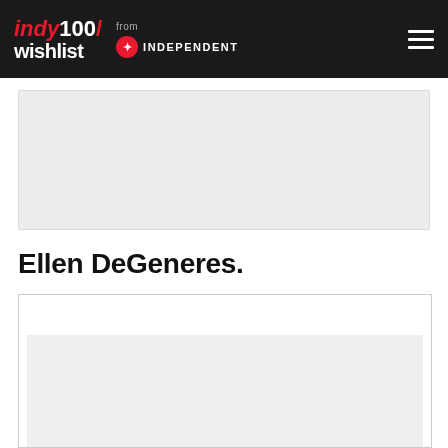indy100/ wishlist from INDEPENDENT
[Figure (other): Gray placeholder advertisement block]
Ellen DeGeneres.
[Figure (other): White card with gray inner placeholder block, partially visible at bottom of page]